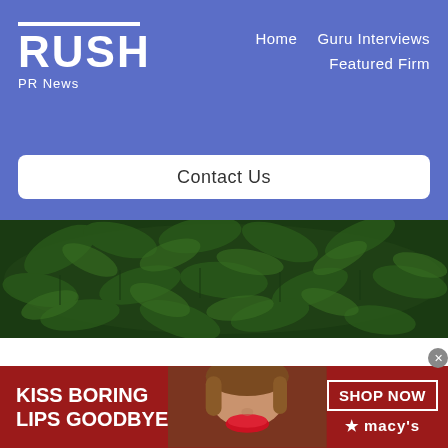RUSH PR News — Home  Guru Interviews  Featured Firm
Contact Us
[Figure (photo): Dense green cannabis plant leaves filling the frame, viewed from above]
Non-Solvent-Based Methods For Making Cannabis Concentrates
If you want to make cannabis concentrates
[Figure (photo): Advertisement banner: KISS BORING LIPS GOODBYE — woman with red lipstick — SHOP NOW — Macy's star logo]